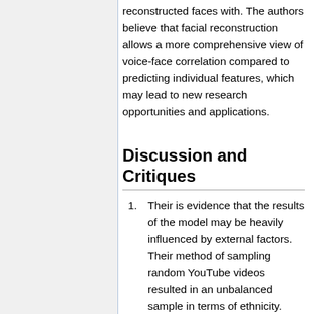reconstructed faces with. The authors believe that facial reconstruction allows a more comprehensive view of voice-face correlation compared to predicting individual features, which may lead to new research opportunities and applications.
Discussion and Critiques
Their is evidence that the results of the model may be heavily influenced by external factors. Their method of sampling random YouTube videos resulted in an unbalanced sample in terms of ethnicity. Over half of the samples were white. We also saw a large bias in the models prediction of